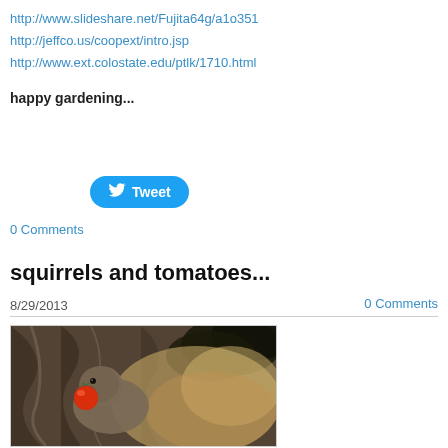http://www.slideshare.net/Fujita64g/a1o351
http://jeffco.us/coopext/intro.jsp
http://www.ext.colostate.edu/ptlk/1710.html
happy gardening...
[Figure (other): Tweet button with Twitter bird logo]
0 Comments
squirrels and tomatoes...
8/29/2013    0 Comments
[Figure (photo): A squirrel sitting on a tree trunk holding a red tomato in its mouth]